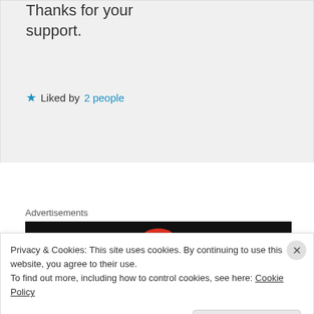Thanks for your support.
★ Liked by 2 people
Advertisements
[Figure (screenshot): Dark advertisement banner with a red circular logo partially visible]
angelyordanov on June 11, 2014 at 4:02 am
Hi mozzyk
Privacy & Cookies: This site uses cookies. By continuing to use this website, you agree to their use.
To find out more, including how to control cookies, see here: Cookie Policy